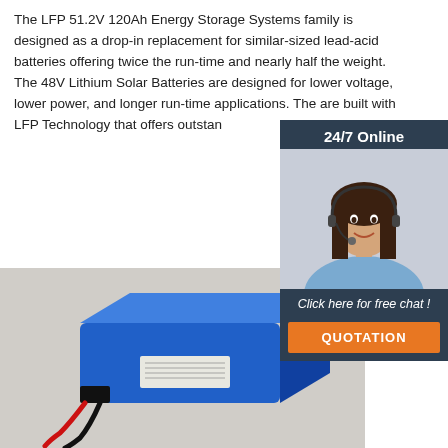The LFP 51.2V 120Ah Energy Storage Systems family is designed as a drop-in replacement for similar-sized lead-acid batteries offering twice the run-time and nearly half the weight. The 48V Lithium Solar Batteries are designed for lower voltage, lower power, and longer run-time applications. The are built with LFP Technology that offers outstan
[Figure (other): 24/7 Online chat widget with photo of female customer service representative wearing headset, button reading QUOTATION]
[Figure (photo): Blue rectangular LFP lithium battery pack with red and black wires and a label, on a light gray background]